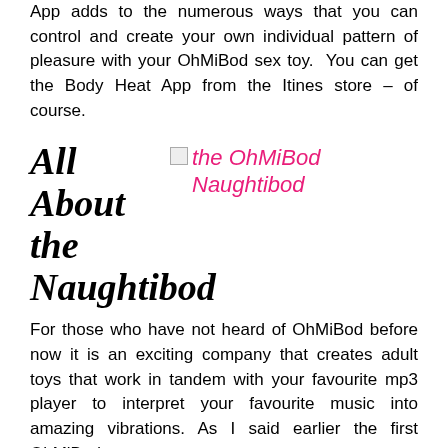App adds to the numerous ways that you can control and create your own individual pattern of pleasure with your OhMiBod sex toy.  You can get the Body Heat App from the Itines store – of course.
All About the Naughtibod
[Figure (photo): Broken image placeholder with text 'the OhMiBod Naughtibod' in pink cursive font]
For those who have not heard of OhMiBod before now it is an exciting company that creates adult toys that work in tandem with your favourite mp3 player to interpret your favourite music into amazing vibrations. As I said earlier the first OhMiBod sex toy